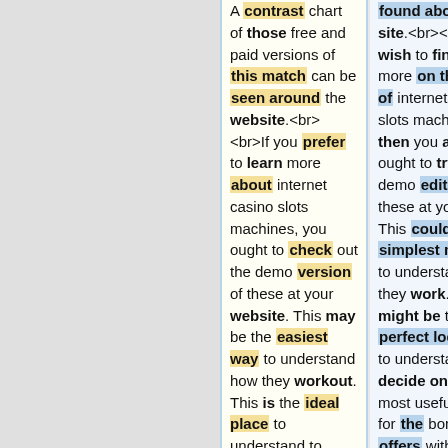A contrast chart of those free and paid versions of this match can be seen around the website.<br><br>If you prefer to learn more about internet casino slots machines, you ought to check out the demo version of these at your website. This may be the easiest way to understand how they workout. This is the ideal place to understand to choose the most
found about the site.<br><br>If you wish to find out more on the topic of internet casino slots machines, then you also ought to try out the demo edition of these at your site. This could be the simplest means to understand how they work. This might be the perfect location to understand to decide on the most useful icons for the bonus offers within the